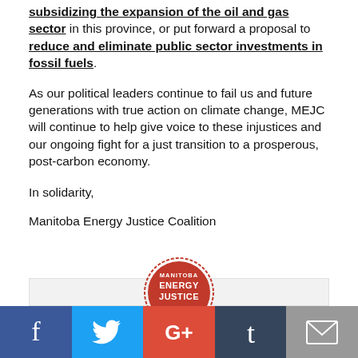subsidizing the expansion of the oil and gas sector in this province, or put forward a proposal to reduce and eliminate public sector investments in fossil fuels.
As our political leaders continue to fail us and future generations with true action on climate change, MEJC will continue to help give voice to these injustices and our ongoing fight for a just transition to a prosperous, post-carbon economy.
In solidarity,
Manitoba Energy Justice Coalition
[Figure (logo): Manitoba Energy Justice circular logo with red background, white text reading MANITOBA ENERGY JUSTICE with dashed border]